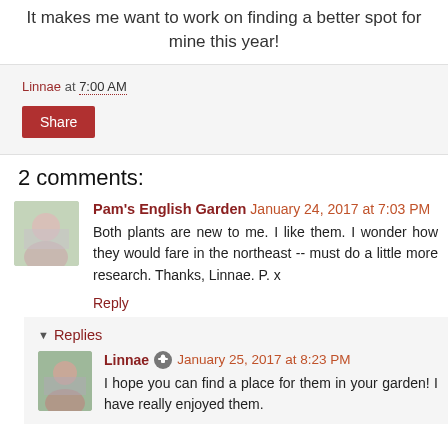It makes me want to work on finding a better spot for mine this year!
Linnae at 7:00 AM
Share
2 comments:
Pam's English Garden January 24, 2017 at 7:03 PM
Both plants are new to me. I like them. I wonder how they would fare in the northeast -- must do a little more research. Thanks, Linnae. P. x
Reply
▼ Replies
Linnae ● January 25, 2017 at 8:23 PM
I hope you can find a place for them in your garden! I have really enjoyed them.